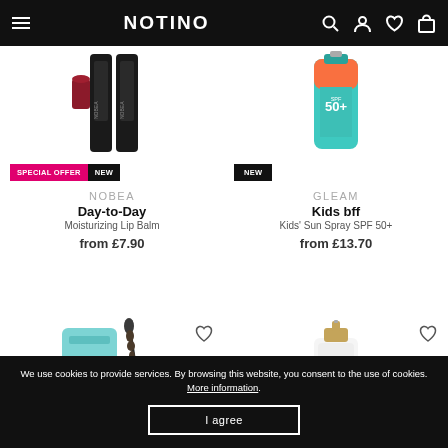NOTINO
[Figure (photo): NOBEA Day-to-Day Moisturizing Lip Balm product image with SPECIAL OFFER and NEW badges]
[Figure (photo): GLEAM Kids bff Kids Sun Spray SPF 50+ product image with NEW badge]
NOBEA
Day-to-Day
Moisturizing Lip Balm
from £7.90
GLEAM
Kids bff
Kids' Sun Spray SPF 50+
from £13.70
[Figure (photo): PIXI mascara wand product image, partial view]
[Figure (photo): Iconique pump bottle product image, partial view]
We use cookies to provide services. By browsing this website, you consent to the use of cookies. More information.
I agree